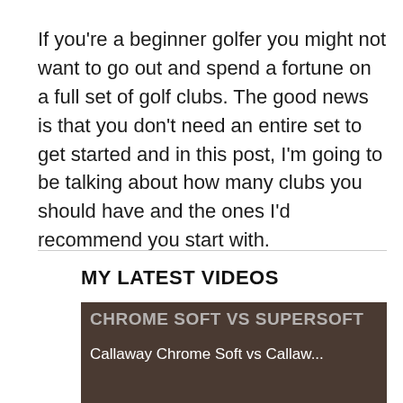If you're a beginner golfer you might not want to go out and spend a fortune on a full set of golf clubs. The good news is that you don't need an entire set to get started and in this post, I'm going to be talking about how many clubs you should have and the ones I'd recommend you start with.
MY LATEST VIDEOS
[Figure (screenshot): Video thumbnail showing 'CHROME SOFT VS SUPERSOFT' title in grey text over a dark background, with subtitle 'Callaway Chrome Soft vs Callaw...' in white text]